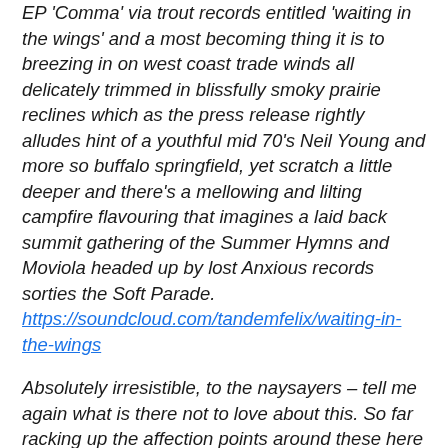EP 'Comma' via trout records entitled 'waiting in the wings' and a most becoming thing it is to breezing in on west coast trade winds all delicately trimmed in blissfully smoky prairie reclines which as the press release rightly alludes hint of a youthful mid 70's Neil Young and more so buffalo springfield, yet scratch a little deeper and there's a mellowing and lilting campfire flavouring that imagines a laid back summit gathering of the Summer Hymns and Moviola headed up by lost Anxious records sorties the Soft Parade. https://soundcloud.com/tandemfelix/waiting-in-the-wings
Absolutely irresistible, to the naysayers – tell me again what is there not to love about this. So far racking up the affection points around these here parts and proving to be an unexpected early running delight in terms of favourite full lengths so far this year. Sadly only 100 of them around